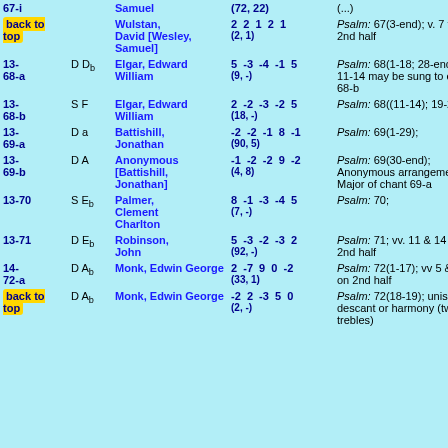| ID | Key | Composer | Numbers | Psalm |
| --- | --- | --- | --- | --- |
| 67-i |  | Samuel | (72, 22) | (...) |
| back to top |  | Wulstan, David [Wesley, Samuel] | 2 2 1 2 1 (2, 1) | Psalm: 67(3-end); v. 7 to 2nd half |
| 13-68-a | D Db | Elgar, Edward William | 5 -3 -4 -1 5 (9, -) | Psalm: 68(1-18; 28-end); vv. 11-14 may be sung to chant 68-b |
| 13-68-b | S F | Elgar, Edward William | 2 -2 -3 -2 5 (18, -) | Psalm: 68((11-14); 19-27); |
| 13-69-a | D a | Battishill, Jonathan | -2 -2 -1 8 -1 (90, 5) | Psalm: 69(1-29); |
| 13-69-b | D A | Anonymous [Battishill, Jonathan] | -1 -2 -2 9 -2 (4, 8) | Psalm: 69(30-end); Anonymous arrangement in Major of chant 69-a |
| 13-70 | S Eb | Palmer, Clement Charlton | 8 -1 -3 -4 5 (7, -) | Psalm: 70; |
| 13-71 | D Eb | Robinson, John | 5 -3 -2 -3 2 (92, -) | Psalm: 71; vv. 11 & 14 on 2nd half |
| 14-72-a | D Ab | Monk, Edwin George | 2 -7 9 0 -2 (33, 1) | Psalm: 72(1-17); vv 5 & 14 on 2nd half |
| back to top |  | Monk, Edwin George | -2 2 -3 5 0 (2, -) | Psalm: 72(18-19); unison + descant or harmony (two trebles) |